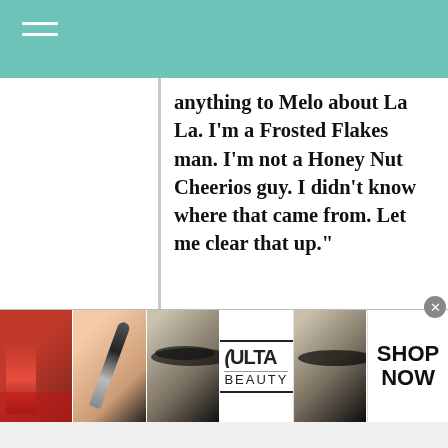anything to Melo about La La. I’m a Frosted Flakes man. I’m not a Honey Nut Cheerios guy. I didn’t know where that came from. Let me clear that up.”
La La Anthony The speculation was also dismissed in 2014, revealing:
“Kevin Garnett in fact had never
[Figure (screenshot): Ulta beauty advertisement banner with makeup images (lips, brush, eyes) and SHOP NOW call to action, with infolinks label]